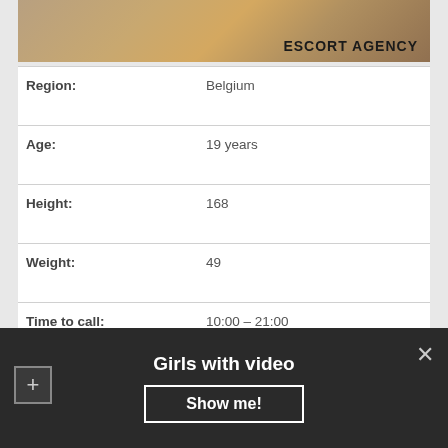[Figure (photo): Partial photo with ESCORT AGENCY text overlay]
| Field | Value |
| --- | --- |
| Region: | Belgium |
| Age: | 19 years |
| Height: | 168 |
| Weight: | 49 |
| Time to call: | 10:00 – 21:00 |
| Threesome with lesbians: | 330$ |
| Services: | Strap On, Cum on breast, 'A' Levels, Uniforms |
| Ethnic: | Moldovan |
Girls with video
Show me!